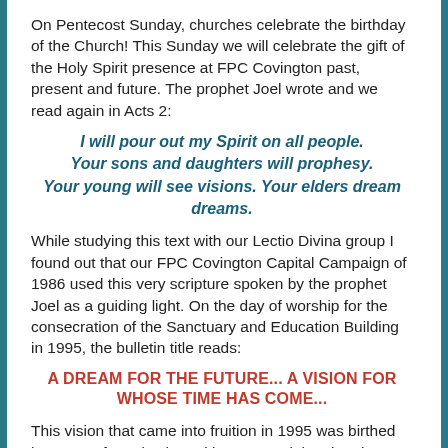On Pentecost Sunday, churches celebrate the birthday of the Church! This Sunday we will celebrate the gift of the Holy Spirit presence at FPC Covington past, present and future. The prophet Joel wrote and we read again in Acts 2:
I will pour out my Spirit on all people. Your sons and daughters will prophesy. Your young will see visions. Your elders dream dreams.
While studying this text with our Lectio Divina group I found out that our FPC Covington Capital Campaign of 1986 used this very scripture spoken by the prophet Joel as a guiding light. On the day of worship for the consecration of the Sanctuary and Education Building in 1995, the bulletin title reads:
A DREAM FOR THE FUTURE... A VISION FOR WHOSE TIME HAS COME...
This vision that came into fruition in 1995 was birthed because of seeds planted in 1986 and the church's need to "stretch and reach out in faith." You can read